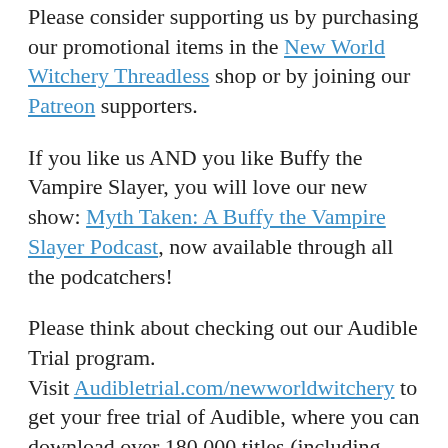Please consider supporting us by purchasing our promotional items in the New World Witchery Threadless shop or by joining our Patreon supporters.
If you like us AND you like Buffy the Vampire Slayer, you will love our new show: Myth Taken: A Buffy the Vampire Slayer Podcast, now available through all the podcatchers!
Please think about checking out our Audible Trial program. Visit Audibletrial.com/newworldwitchery to get your free trial of Audible, where you can download over 180,000 titles (including some narrated by Cory). Your purchases help support this show, and there's no obligation to